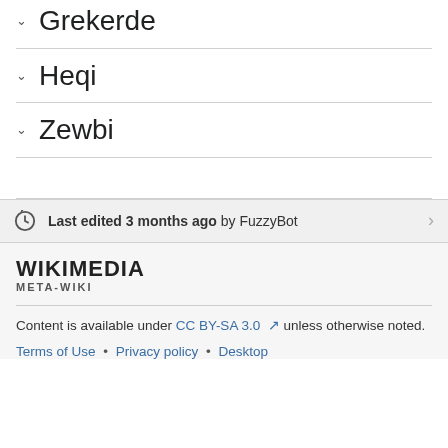Grekerde
Heqi
Zewbi
Last edited 3 months ago by FuzzyBot
[Figure (logo): Wikimedia Meta-Wiki logo]
Content is available under CC BY-SA 3.0 unless otherwise noted.
Terms of Use • Privacy policy • Desktop